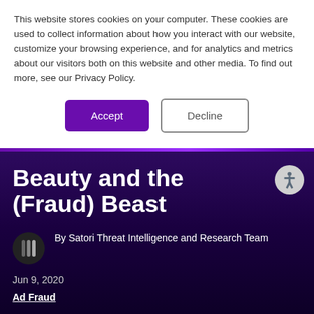This website stores cookies on your computer. These cookies are used to collect information about how you interact with our website, customize your browsing experience, and for analytics and metrics about our visitors both on this website and other media. To find out more, see our Privacy Policy.
Accept
Decline
Beauty and the (Fraud) Beast
By Satori Threat Intelligence and Research Team
Jun 9, 2020
Ad Fraud